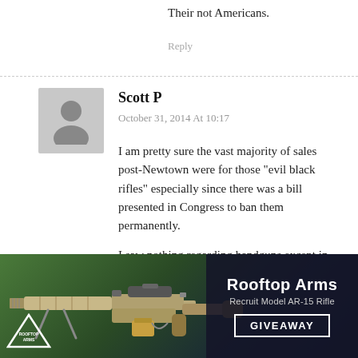Their not Americans.
Reply
Scott P
October 31, 2014 At 10:17
I am pretty sure the vast majority of sales post-Newtown were for those “evil black rifles” especially since there was a bill presented in Congress to ban them permanently.

I saw nothing regarding handguns except in Maryland making them much harder to acquire. The same process just to purchase one in Maryland would pass muster in most states to acquire a CCW
[Figure (photo): Advertisement banner for Rooftop Arms Recruit Model AR-15 Rifle Giveaway, showing a rifle on a green/blue background with logo and giveaway button]